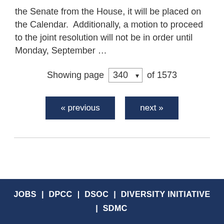the Senate from the House, it will be placed on the Calendar.  Additionally, a motion to proceed to the joint resolution will not be in order until Monday, September …
Showing page 340 of 1573
« previous   next »
JOBS | DPCC | DSOC | DIVERSITY INITIATIVE | SDMC